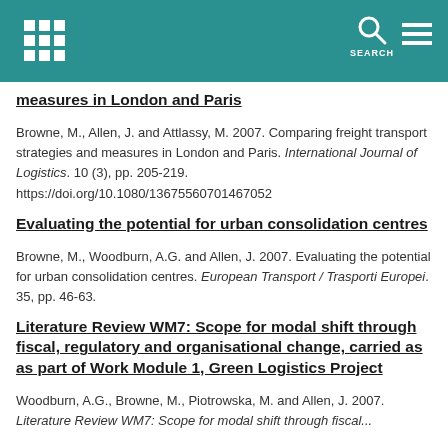SEARCH
measures in London and Paris
Browne, M., Allen, J. and Attlassy, M. 2007. Comparing freight transport strategies and measures in London and Paris. International Journal of Logistics. 10 (3), pp. 205-219. https://doi.org/10.1080/13675560701467052
Evaluating the potential for urban consolidation centres
Browne, M., Woodburn, A.G. and Allen, J. 2007. Evaluating the potential for urban consolidation centres. European Transport / Trasporti Europei. 35, pp. 46-63.
Literature Review WM7: Scope for modal shift through fiscal, regulatory and organisational change, carried as as part of Work Module 1, Green Logistics Project
Woodburn, A.G., Browne, M., Piotrowska, M. and Allen, J. 2007. Literature Review WM7: Scope for modal shift through fiscal...